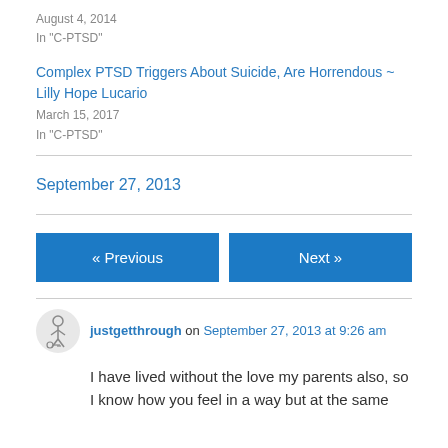August 4, 2014
In "C-PTSD"
Complex PTSD Triggers About Suicide, Are Horrendous ~ Lilly Hope Lucario
March 15, 2017
In "C-PTSD"
September 27, 2013
« Previous
Next »
justgetthrough on September 27, 2013 at 9:26 am
I have lived without the love my parents also, so I know how you feel in a way but at the same